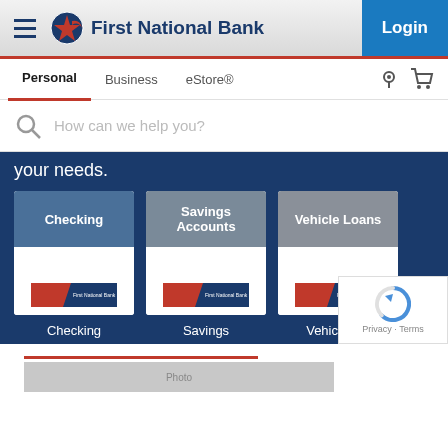First National Bank — Login
Personal | Business | eStore®
How can we help you?
your needs.
[Figure (screenshot): Three product cards: Checking, Savings Accounts, Vehicle Loans, each showing a card image with FNB logo strip]
Checking | Savings | Vehicle L...
Privacy · Terms